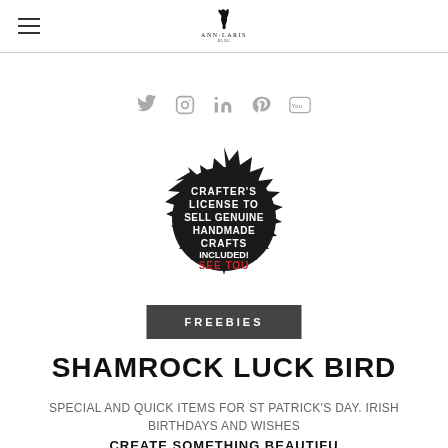ANN-LARIS logo with hamburger menu
[Figure (illustration): Five social media icons in a row: Twitter (bird), Instagram (camera), LinkedIn (in), Pinterest (P), YouTube (You square)]
[Figure (illustration): Black spiky badge/seal reading: CRAFTER'S LICENSE TO SELL GENUINE HANDMADE CRAFTS INCLUDED! SEE TOU (SEE TOU in red)]
FREEBIES
SHAMROCK LUCK BIRD
SPECIAL AND QUICK ITEMS FOR ST PATRICK'S DAY. IRISH BIRTHDAYS AND WISHES
CREATE SOMETHING BEAUTIFUL